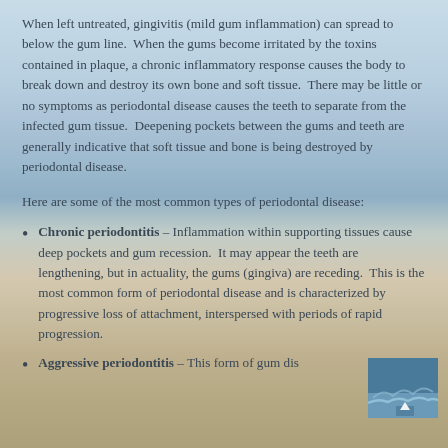When left untreated, gingivitis (mild gum inflammation) can spread to below the gum line.  When the gums become irritated by the toxins contained in plaque, a chronic inflammatory response causes the body to break down and destroy its own bone and soft tissue.  There may be little or no symptoms as periodontal disease causes the teeth to separate from the infected gum tissue.  Deepening pockets between the gums and teeth are generally indicative that soft tissue and bone is being destroyed by periodontal disease.
Here are some of the most common types of periodontal disease:
Chronic periodontitis – Inflammation within supporting tissues cause deep pockets and gum recession.  It may appear the teeth are lengthening, but in actuality, the gums (gingiva) are receding.  This is the most common form of periodontal disease and is characterized by progressive loss of attachment, interspersed with periods of rapid progression.
Aggressive periodontitis – This form of gum dis...